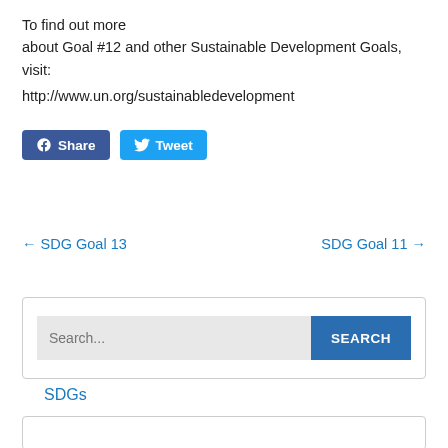To find out more about Goal #12 and other Sustainable Development Goals, visit:
http://www.un.org/sustainabledevelopment
Share  Tweet
SDGs
← SDG Goal 13    SDG Goal 11 →